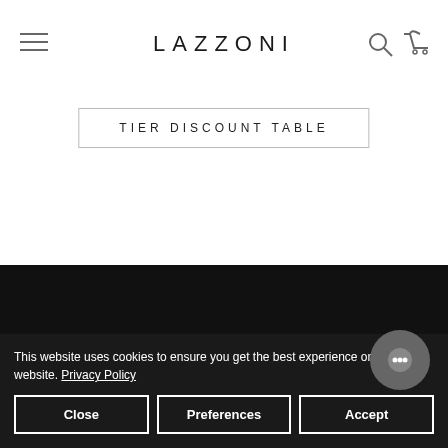LAZZONI
TIER DISCOUNT TABLE
This website uses cookies to ensure you get the best experience on our website. Privacy Policy
Close | Preferences | Accept